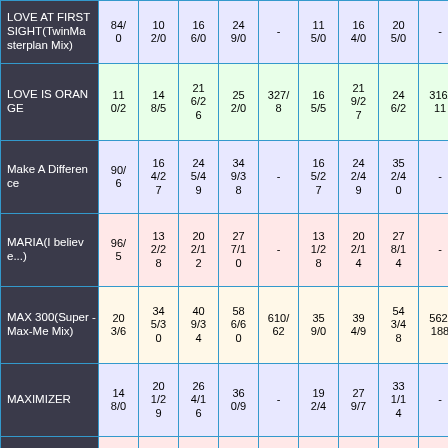| Song | Col1 | Col2 | Col3 | Col4 | Col5 | Col6 | Col7 | Col8 | Col9 |
| --- | --- | --- | --- | --- | --- | --- | --- | --- | --- |
| LOVE AT FIRST SIGHT(TwinMasterplan Mix) | 84/0 | 102/0 | 146/0 | 249/0 | - | 115/0 | 164/0 | 205/0 | - |
| LOVE IS ORANGE | 110/2 | 148/5 | 216/26 | 252/0 | 327/8 | 165/5 | 219/27 | 246/2 | 316/11 |
| Make A Difference | 90/6 | 164/27 | 245/49 | 349/38 | - | 165/27 | 242/49 | 352/40 | - |
| MARIA(I believe...) | 96/5 | 132/28 | 202/12 | 277/10 | - | 131/28 | 202/14 | 278/14 | - |
| MAX 300(Super-Max-Me Mix) | 203/6 | 345/30 | 409/34 | 586/60 | 610/62 | 359/0 | 394/9 | 543/48 | 562/188 |
| MAXIMIZER | 148/0 | 201/29 | 264/16 | 360/9 | - | 192/4 | 279/7 | 331/14 | - |
| MIDNIGHT SPECIAL | 101/12 | 142/21 | 236/11 | 267/14 | - | 190/3 | 244/11 | 274/8 | - |
|  | 12 | 20 | 33 |  | - | 12 | 18 | 27 |  |